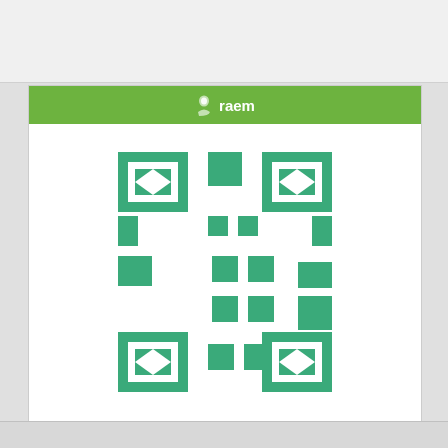raem
[Figure (other): QR code style avatar for user raem, green and white pixel pattern with diamond shapes]
[Figure (logo): SME Server Wiki & Docs Team logo with infinity symbol]
3,972
+4/-0